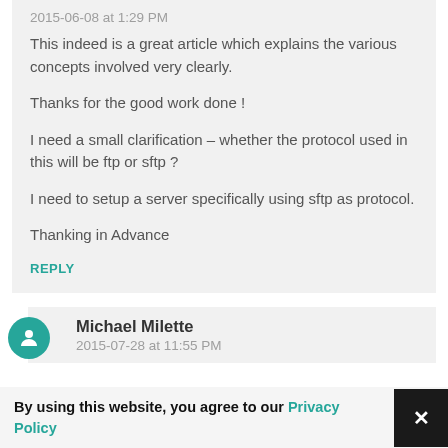2015-06-08 at 1:29 PM
This indeed is a great article which explains the various concepts involved very clearly.

Thanks for the good work done !

I need a small clarification – whether the protocol used in this will be ftp or sftp ?

I need to setup a server specifically using sftp as protocol.

Thanking in Advance
REPLY
Michael Milette
2015-07-28 at 11:55 PM
By using this website, you agree to our Privacy Policy